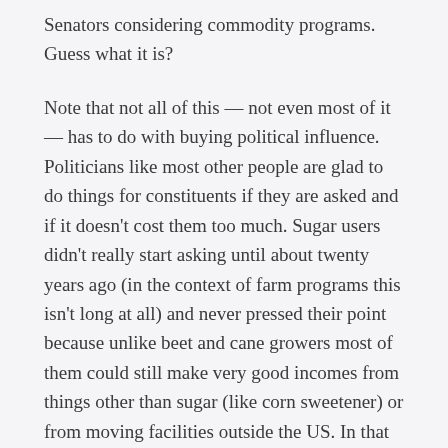Senators considering commodity programs. Guess what it is?
Note that not all of this — not even most of it — has to do with buying political influence. Politicians like most other people are glad to do things for constituents if they are asked and if it doesn't cost them too much. Sugar users didn't really start asking until about twenty years ago (in the context of farm programs this isn't long at all) and never pressed their point because unlike beet and cane growers most of them could still make very good incomes from things other than sugar (like corn sweetener) or from moving facilities outside the US. In that case their employees